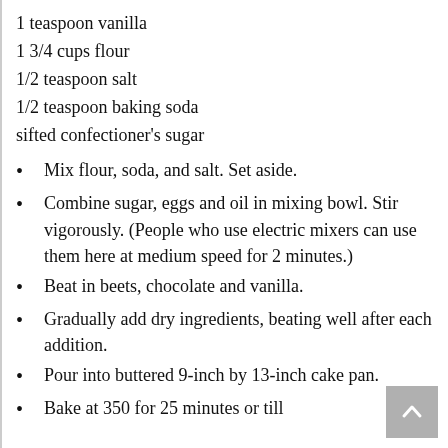1 teaspoon vanilla
1 3/4 cups flour
1/2 teaspoon salt
1/2 teaspoon baking soda
sifted confectioner's sugar
Mix flour, soda, and salt. Set aside.
Combine sugar, eggs and oil in mixing bowl. Stir vigorously. (People who use electric mixers can use them here at medium speed for 2 minutes.)
Beat in beets, chocolate and vanilla.
Gradually add dry ingredients, beating well after each addition.
Pour into buttered 9-inch by 13-inch cake pan.
Bake at 350 for 25 minutes or till